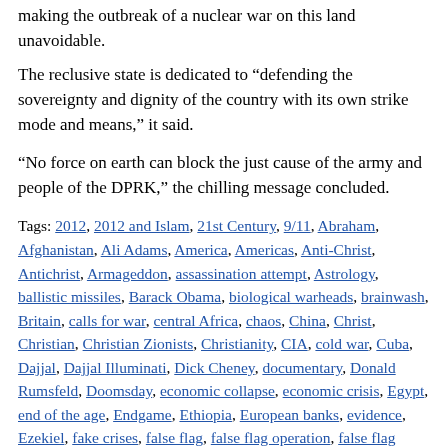making the outbreak of a nuclear war on this land unavoidable.
The reclusive state is dedicated to “defending the sovereignty and dignity of the country with its own strike mode and means,” it said.
“No force on earth can block the just cause of the army and people of the DPRK,” the chilling message concluded.
Tags: 2012, 2012 and Islam, 21st Century, 9/11, Abraham, Afghanistan, Ali Adams, America, Americas, Anti-Christ, Antichrist, Armageddon, assassination attempt, Astrology, ballistic missiles, Barack Obama, biological warheads, brainwash, Britain, calls for war, central Africa, chaos, China, Christ, Christian, Christian Zionists, Christianity, CIA, cold war, Cuba, Dajjal, Dajjal Illuminati, Dick Cheney, documentary, Donald Rumsfeld, Doomsday, economic collapse, economic crisis, Egypt, end of the age, Endgame, Ethiopia, European banks, evidence, Ezekiel, fake crises, false flag, false flag operation, false flag terror, Fidel Castro, First Great War, Freemasons, Gerald Celente, Gog, Gog & Magog, Gog and Magog, Gomer, Great Britain, Great Depression, Gulf of Tonkin, Hillary Clinton, Holocaust, illumanati, Illuminati Agenda, Illuminati Dajjal, imperialism, India, Iran, Iraq, ISI, Islam, Israel, Japan, Jeremiah, Jerusalem, Jesus, Jesus Christ, Jews, Jordan, Judaism, Kabbalah, Kim Jong Un, Kim Jong Un Nuclear Test, Korean Armistice, Korean Tensions, Latest News, Lebanon, Libya, liquidity, Magog, Masonic conspiracy, Media, MI6, Michel